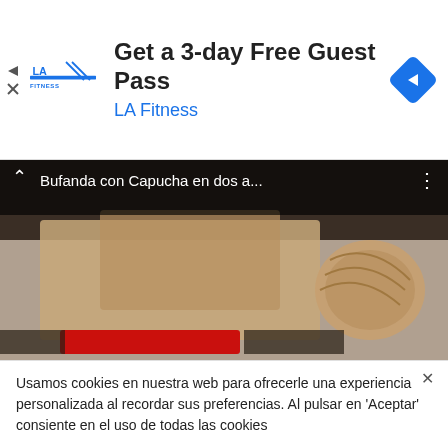[Figure (screenshot): LA Fitness advertisement banner with logo, text 'Get a 3-day Free Guest Pass' and 'LA Fitness' in blue, plus a blue diamond navigation icon]
[Figure (screenshot): Video thumbnail showing knitted scarf/hood with yarn ball, title 'Bufanda con Capucha en dos a...' overlaid on dark background, with YouTube-style controls]
Usamos cookies en nuestra web para ofrecerle una experiencia personalizada al recordar sus preferencias. Al pulsar en 'Aceptar' consiente en el uso de todas las cookies
No vender mi información personal. Leer más Rechazar
Aceptar  Configuración de cookies